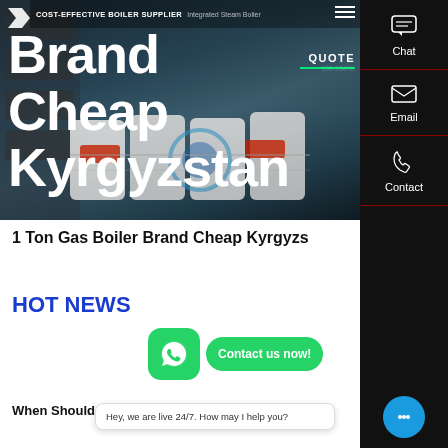[Figure (screenshot): Hero banner of a boiler supplier website showing industrial boilers in background with dark overlay]
COST-EFFECTIVE BOILER SUPPLIER | Integrated Steam Boiler
Brand Cheap
Kyrgyzstan
QUOTE
1 Ton Gas Boiler Brand Cheap Kyrgyzstan
HOT NEWS
When Should You Replace Your Boiler
Contact us now!
Hey, we are live 24/7. How may I help you?
Chat
Email
Contact